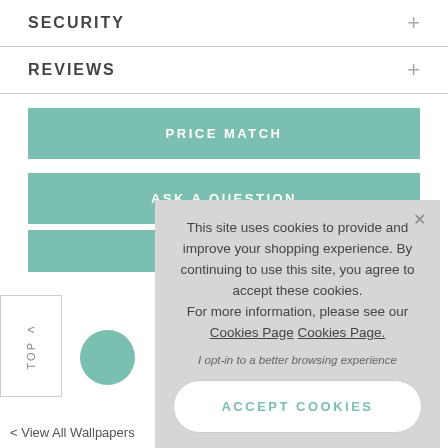SECURITY
REVIEWS
PRICE MATCH
ASK A QUESTION
This site uses cookies to provide and improve your shopping experience. By continuing to use this site, you agree to accept these cookies. For more information, please see our Cookies Page Cookies Page.
I opt-in to a better browsing experience
ACCEPT COOKIES
< View All Wallpapers